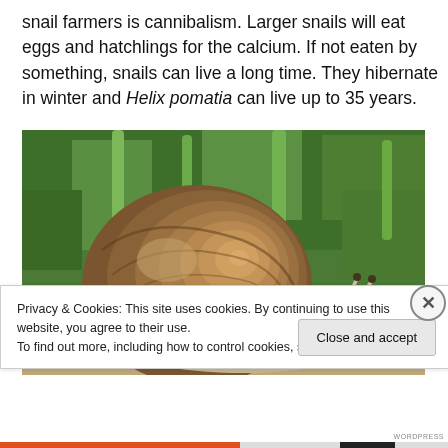snail farmers is cannibalism. Larger snails will eat eggs and hatchlings for the calcium. If not eaten by something, snails can live a long time. They hibernate in winter and Helix pomatia can live up to 35 years.
[Figure (photo): Close-up photograph of a snail (Helix pomatia) with a brown spiral shell, two extended eyestalks, against a blurred green grass background.]
Privacy & Cookies: This site uses cookies. By continuing to use this website, you agree to their use.
To find out more, including how to control cookies, see here: Cookie Policy